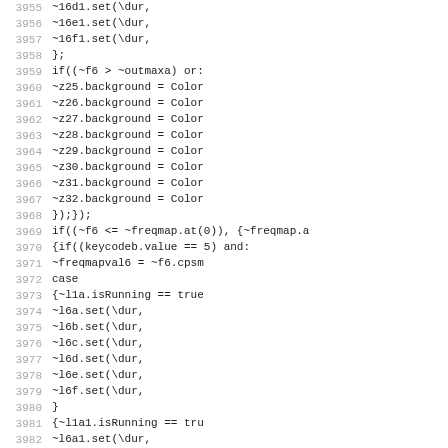Source code listing, lines 3955-3986, showing SuperCollider or similar code with background color assignments, frequency map conditionals, and set operations.